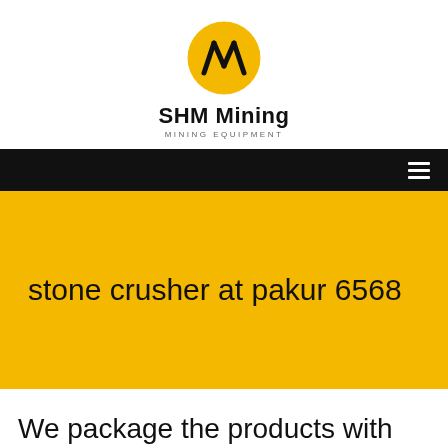[Figure (logo): SHM Mining logo: yellow oval with black diagonal lines forming a stylized letter M]
SHM Mining
MINING EQUIPMENT
[Figure (other): Black navigation bar with hamburger menu icon on right]
stone crusher at pakur 6568
We package the products with best services to make you a happy